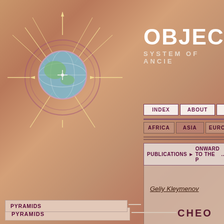[Figure (logo): Starburst/compass logo with globe in center on warm terracotta background]
OBJECTI SYSTEM OF ANCI
INDEX
ABOUT
NEWS
AFRICA
ASIA
EUROPE
RU
PYRAMIDS
MEGALITHS
ANCIENT CITIES
DOLMENS, SEIDS
GEOGLYPHS
ROCKY VILLAGES
PETROGLYPHS, STONE ART
PUBLICATIONS ► ONWARD TO THE P...
Geliy Kleymenov
CHEO